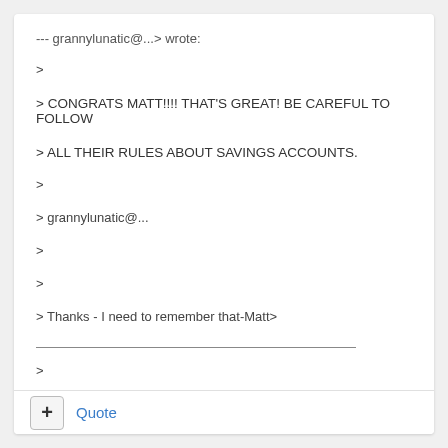--- grannylunatic@...> wrote:
>
> CONGRATS MATT!!!! THAT'S GREAT! BE CAREFUL TO FOLLOW
> ALL THEIR RULES ABOUT SAVINGS ACCOUNTS.
>
> grannylunatic@...
>
>
> Thanks - I need to remember that-Matt>
>
+ Quote